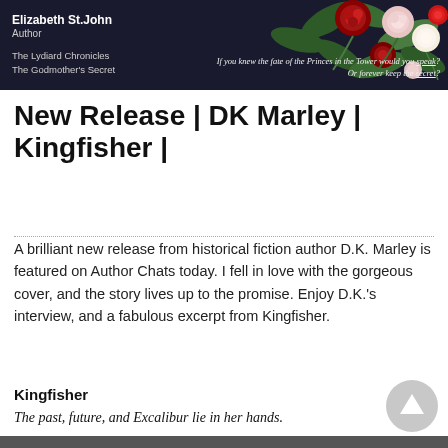[Figure (illustration): Dark navy blue banner with floral pattern (roses in red, pink, cream) on the right. Left side shows author name 'Elizabeth St. John', role 'Author', book titles 'The Lydiard Chronicles' and 'The Godmother's Secret'. Center-right has italic tagline 'If you knew the fate of the Princes in the Tower would you speak? Or forever keep the secret?']
New Release | DK Marley | Kingfisher |
A brilliant new release from historical fiction author D.K. Marley is featured on Author Chats today. I fell in love with the gorgeous cover, and the story lives up to the promise. Enjoy D.K.'s interview, and a fabulous excerpt from Kingfisher.
Kingfisher
The past, future, and Excalibur lie in her hands.